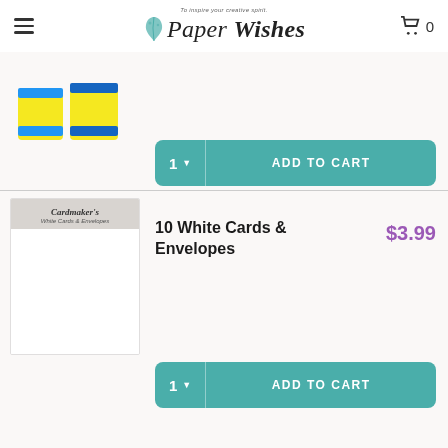Paper Wishes — To inspire your creative spirit. Cart: 0
[Figure (photo): Partial product image showing two yellow spool-like items with blue labels]
[Figure (screenshot): Add to Cart button with quantity selector showing 1 and ADD TO CART]
[Figure (photo): Cardmaker's white cards and envelopes product package]
10 White Cards & Envelopes
$3.99
[Figure (screenshot): Add to Cart button with quantity selector showing 1 and ADD TO CART]